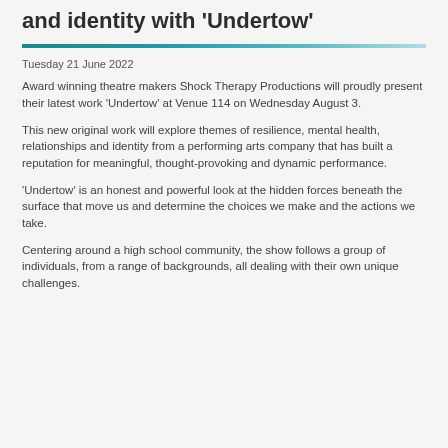and identity with 'Undertow'
Tuesday 21 June 2022
Award winning theatre makers Shock Therapy Productions will proudly present their latest work 'Undertow' at Venue 114 on Wednesday August 3.
This new original work will explore themes of resilience, mental health, relationships and identity from a performing arts company that has built a reputation for meaningful, thought-provoking and dynamic performance.
'Undertow' is an honest and powerful look at the hidden forces beneath the surface that move us and determine the choices we make and the actions we take.
Centering around a high school community, the show follows a group of individuals, from a range of backgrounds, all dealing with their own unique challenges.